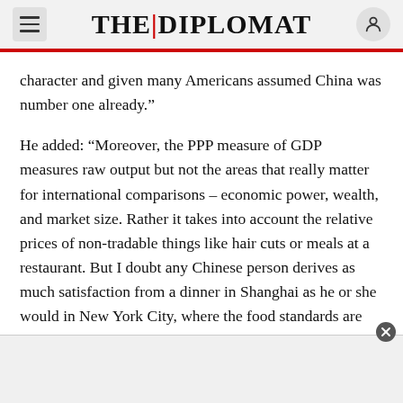THE DIPLOMAT
character and given many Americans assumed China was number one already.”
He added: “Moreover, the PPP measure of GDP measures raw output but not the areas that really matter for international comparisons – economic power, wealth, and market size. Rather it takes into account the relative prices of non-tradable things like hair cuts or meals at a restaurant. But I doubt any Chinese person derives as much satisfaction from a dinner in Shanghai as he or she would in New York City, where the food standards are higher and air and water are relatively clean. So even as a